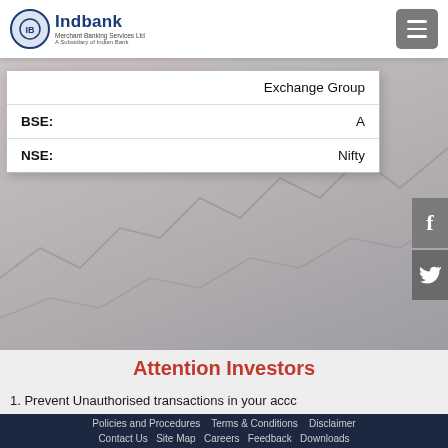Indbank - Merchant Banking Services Ltd - A Subsidiary of Indian Bank
|  | Exchange Group |
| --- | --- |
| BSE: | A |
| NSE: | Nifty |
Attention Investors
1. Prevent Unauthorised transactions in your acco
Policies and Procedures   Terms & Conditions   Disclaimer   Contact Us   Site Map   Careers   Feedback   Downloads   Branch Login   Useful links